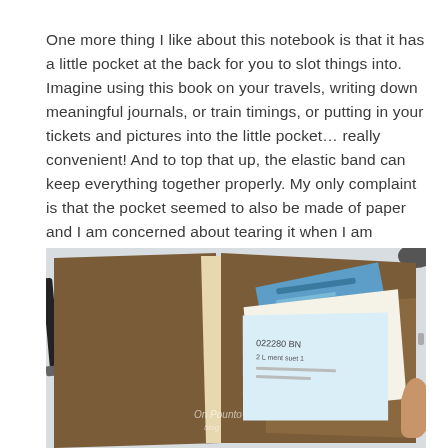One more thing I like about this notebook is that it has a little pocket at the back for you to slot things into. Imagine using this book on your travels, writing down meaningful journals, or train timings, or putting in your tickets and pictures into the little pocket… really convenient! And to top that up, the elastic band can keep everything together properly. My only complaint is that the pocket seemed to also be made of paper and I am concerned about tearing it when I am rushing during my trips.
[Figure (photo): A brown notebook open at the back pocket, with several tickets, boarding passes, and a blue card fanned out from the pocket. A pen is visible to the left and a hand holds the notebook on the right. A watermark reads 'On Pointо blog' on the brown cover.]